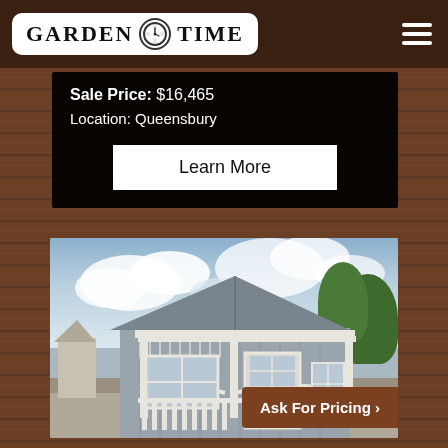[Figure (logo): Garden Time logo with clock icon in white rounded rectangle]
Sale Price: $16,465
Location: Queensbury
Learn More
[Figure (photo): Gray shed/cottage with white porch, lattice trim, and arched details in outdoor setting]
Ask For Pricing >